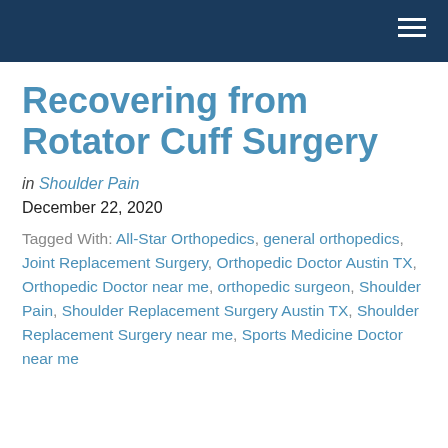Recovering from Rotator Cuff Surgery
in Shoulder Pain
December 22, 2020
Tagged With: All-Star Orthopedics, general orthopedics, Joint Replacement Surgery, Orthopedic Doctor Austin TX, Orthopedic Doctor near me, orthopedic surgeon, Shoulder Pain, Shoulder Replacement Surgery Austin TX, Shoulder Replacement Surgery near me, Sports Medicine Doctor near me